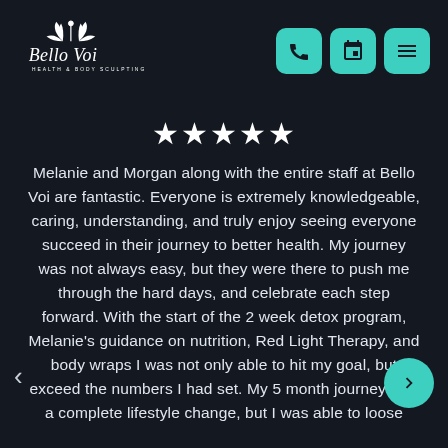[Figure (logo): Bello Voi Health & Body Sculpting logo with decorative leaf/lotus design in white on dark background]
[Figure (infographic): Navigation header buttons: phone icon, calendar icon, and hamburger menu icon, all on teal/turquoise rounded square buttons]
★★★★★
Melanie and Morgan along with the entire staff at Bello Voi are fantastic. Everyone is extremely knowledgeable, caring, understanding, and truly enjoy seeing everyone succeed in their journey to better health. My journey was not always easy, but they were there to push me through the hard days, and celebrate each step forward. With the start of the 2 week detox program, Melanie's guidance on nutrition, Red Light Therapy, and body wraps I was not only able to hit my goal, but exceed the numbers I had set. My 5 month journey was a complete lifestyle change, but I was able to loose